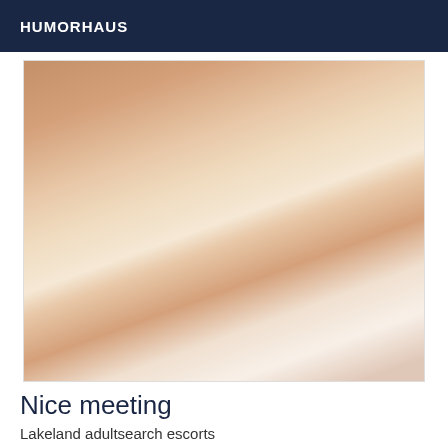HUMORHAUS
[Figure (photo): A person lying on a bed wearing a white top and underwear, viewed from behind]
Nice meeting
Lakeland adultsearch escorts